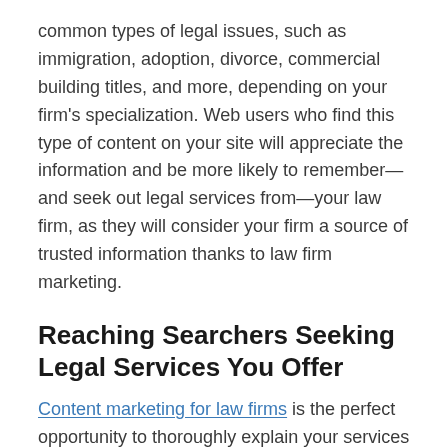common types of legal issues, such as immigration, adoption, divorce, commercial building titles, and more, depending on your firm's specialization. Web users who find this type of content on your site will appreciate the information and be more likely to remember—and seek out legal services from—your law firm, as they will consider your firm a source of trusted information thanks to law firm marketing.
Reaching Searchers Seeking Legal Services You Offer
Content marketing for law firms is the perfect opportunity to thoroughly explain your services to potential clients. Blog posts dedicated to each service give you the space you need to explain